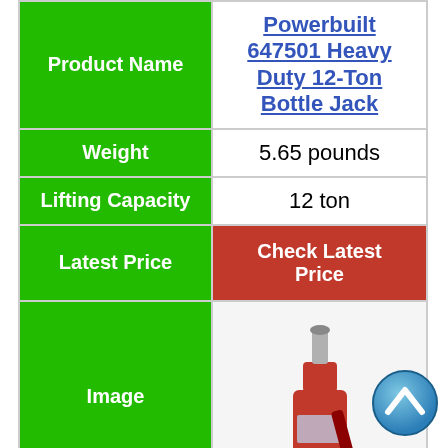|  |  |
| --- | --- |
| Product Name | Powerbuilt 647501 Heavy Duty 12-Ton Bottle Jack |
| Weight | 5.65 pounds |
| Lifting Capacity | 12 ton |
| Latest Price | Check Latest Price |
| Image | [bottle jack image] |
US JACK D-51125 12 Ton
[Figure (illustration): Blue circular scroll-to-top button with upward-pointing chevron arrow]